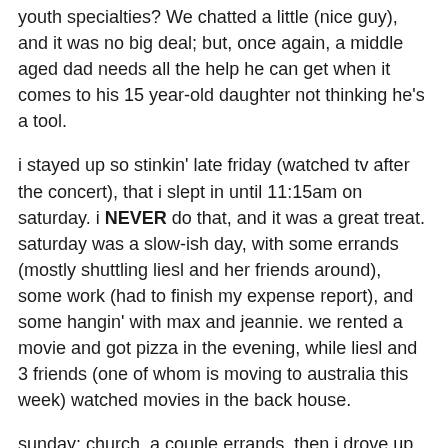youth specialties?  We chatted a little (nice guy), and it was no big deal; but, once again, a middle aged dad needs all the help he can get when it comes to his 15 year-old daughter not thinking he's a tool.
i stayed up so stinkin' late friday (watched tv after the concert), that i slept in until 11:15am on saturday. i NEVER do that, and it was a great treat. saturday was a slow-ish day, with some errands (mostly shuttling liesl and her friends around), some work (had to finish my expense report), and some hangin' with max and jeannie. we rented a movie and got pizza in the evening, while liesl and 3 friends (one of whom is moving to australia this week) watched movies in the back house.
sunday: church, a couple errands, then i drove up to “the inland empire” (that’s what they call the area east of LA). our annual junior high pastors summit started last night with dinner at the yard house (we needed a gathering point, since people were driving, or flying into one of three different airports).